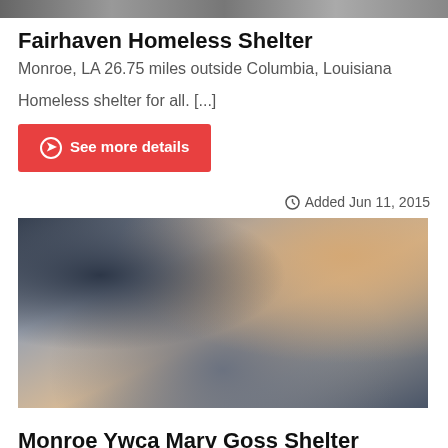[Figure (photo): Top portion of a photo, partially cropped at top of page]
Fairhaven Homeless Shelter
Monroe, LA 26.75 miles outside Columbia, Louisiana
Homeless shelter for all. [...]
See more details
Added Jun 11, 2015
[Figure (photo): Photo of people working at what appears to be a shelter, bending over a bed or cot with blue gloves on]
Monroe Ywca Mary Goss Shelter